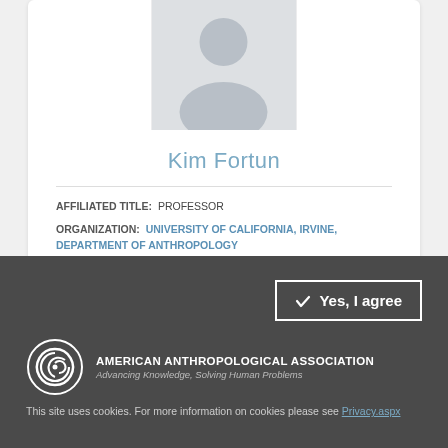[Figure (photo): Default profile photo placeholder silhouette, gray background]
Kim Fortun
AFFILIATED TITLE: PROFESSOR
ORGANIZATION: UNIVERSITY OF CALIFORNIA, IRVINE, DEPARTMENT OF ANTHROPOLOGY
[Figure (photo): Second profile photo placeholder, partially visible]
Yes, I agree
[Figure (logo): American Anthropological Association logo - spiral symbol with text]
This site uses cookies. For more information on cookies please see Privacy.aspx